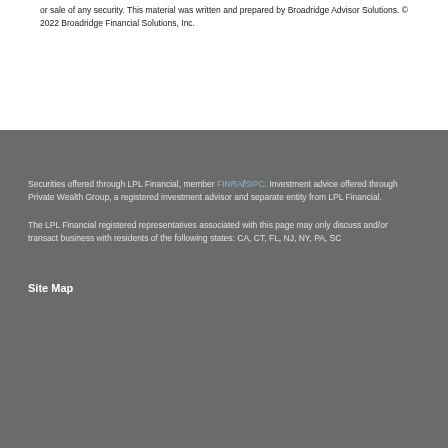or sale of any security. This material was written and prepared by Broadridge Advisor Solutions. © 2022 Broadridge Financial Solutions, Inc.
Securities offered through LPL Financial, member FINRA/SIPC. Investment advice offered through Private Wealth Group, a registered investment advisor and separate entity from LPL Financial.
The LPL Financial registered representatives associated with this page may only discuss and/or transact business with residents of the following states: CA, CT, FL, NJ, NY, PA, SC
Site Map